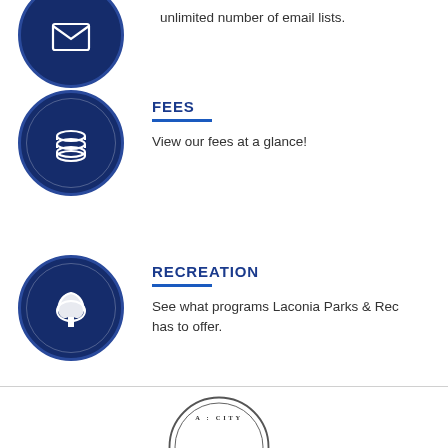unlimited number of email lists.
FEES
View our fees at a glance!
RECREATION
See what programs Laconia Parks & Rec has to offer.
[Figure (logo): Partial city seal at bottom of page]